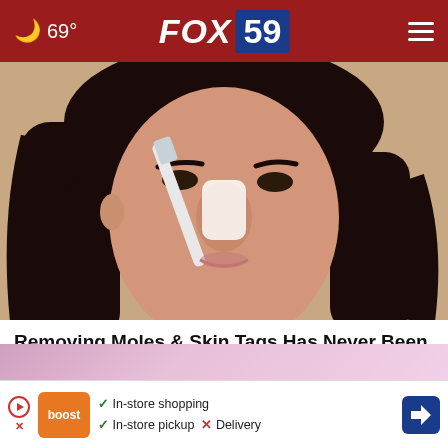69° FOX 59
[Figure (photo): Woman applying something white to her nose with a brush/applicator, close-up beauty/skincare photo]
Removing Moles & Skin Tags Has Never Been This Easy
Healt
[Figure (infographic): Ad bar: Boost logo, checkmarks for In-store shopping and In-store pickup, X for Delivery, navigation arrow icon]